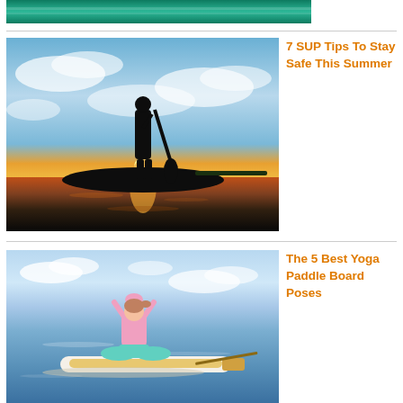[Figure (photo): Partial view of a body of water with green/teal tones, cropped at top of page]
[Figure (photo): Silhouette of a person standing on a SUP (stand-up paddleboard) at sunset over calm water with dramatic cloudy sky]
7 SUP Tips To Stay Safe This Summer
[Figure (photo): Woman in pink outfit sitting in yoga pose on a paddleboard on calm blue water with clear sky]
The 5 Best Yoga Paddle Board Poses